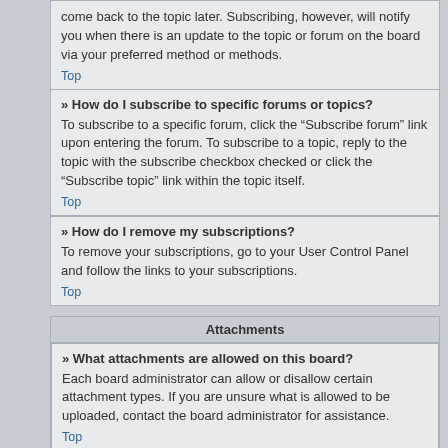come back to the topic later. Subscribing, however, will notify you when there is an update to the topic or forum on the board via your preferred method or methods.
Top
» How do I subscribe to specific forums or topics?
To subscribe to a specific forum, click the “Subscribe forum” link upon entering the forum. To subscribe to a topic, reply to the topic with the subscribe checkbox checked or click the “Subscribe topic” link within the topic itself.
Top
» How do I remove my subscriptions?
To remove your subscriptions, go to your User Control Panel and follow the links to your subscriptions.
Top
Attachments
» What attachments are allowed on this board?
Each board administrator can allow or disallow certain attachment types. If you are unsure what is allowed to be uploaded, contact the board administrator for assistance.
Top
» How do I find all my attachments?